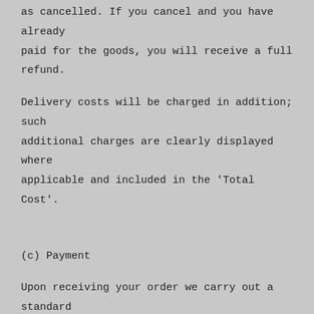as cancelled. If you cancel and you have already paid for the goods, you will receive a full refund.
Delivery costs will be charged in addition; such additional charges are clearly displayed where applicable and included in the 'Total Cost'.
(c) Payment
Upon receiving your order we carry out a standard authorization check on your payment card to ensure there are sufficient funds to fulfil the transaction. Your card will be debited upon authorisation being received. The monies received